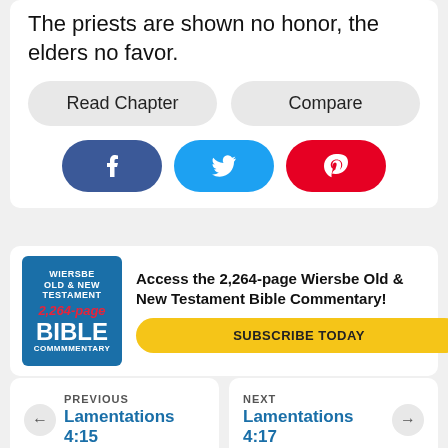The priests are shown no honor, the elders no favor.
Read Chapter
Compare
[Figure (infographic): Social share buttons: Facebook (blue), Twitter (cyan), Pinterest (red)]
[Figure (infographic): Wiersbe Old & New Testament 2,264-page Bible Commentary advertisement with Subscribe Today button]
PREVIOUS
Lamentations 4:15
NEXT
Lamentations 4:17